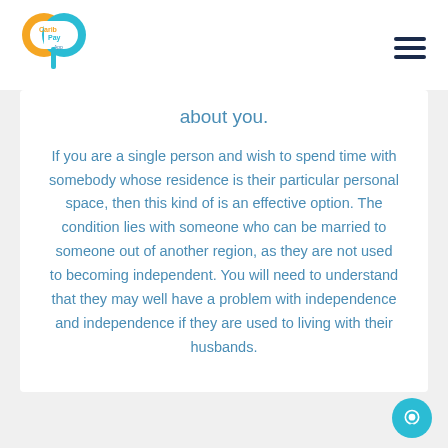Carib Pay App [logo] [hamburger menu]
about you.
If you are a single person and wish to spend time with somebody whose residence is their particular personal space, then this kind of is an effective option. The condition lies with someone who can be married to someone out of another region, as they are not used to becoming independent. You will need to understand that they may well have a problem with independence and independence if they are used to living with their husbands.